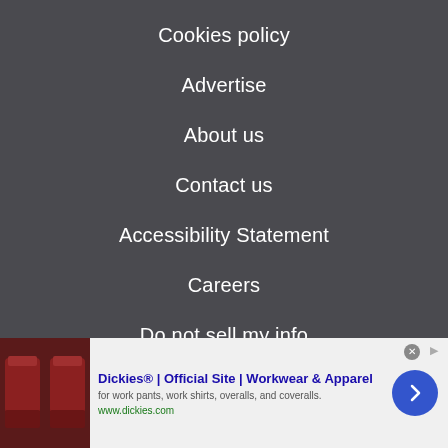Cookies policy
Advertise
About us
Contact us
Accessibility Statement
Careers
Do not sell my info
© Future Publishing Limited Quay House, The Ambury, Bath
[Figure (infographic): Advertisement banner for Dickies workwear. Shows a thumbnail image of red/brown chairs on the left, then bold blue text 'Dickies® | Official Site | Workwear & Apparel', description text 'for work pants, work shirts, overalls, and coveralls.', green URL 'www.dickies.com', and a blue circular arrow button on the right.]